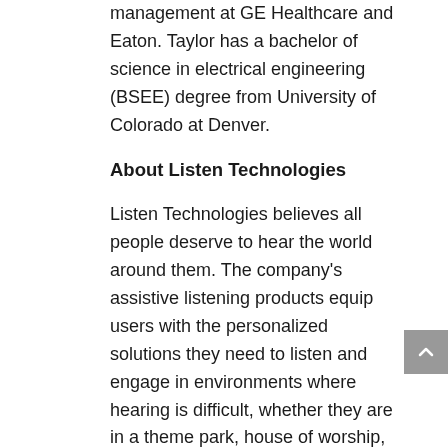management at GE Healthcare and Eaton. Taylor has a bachelor of science in electrical engineering (BSEE) degree from University of Colorado at Denver.
About Listen Technologies
Listen Technologies believes all people deserve to hear the world around them. The company's assistive listening products equip users with the personalized solutions they need to listen and engage in environments where hearing is difficult, whether they are in a theme park, house of worship, tour group, theaters or other venue. Listen Technologies sets the standard for innovation as it develops products that minimize noise, distance, clashing conversations, hearing loss and other audio challenges. To learn more about how Listen Technologies provides a better way to hear the world, visit www.listentech.com.